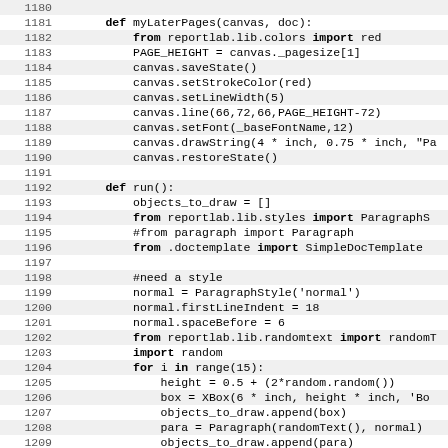Code listing lines 1180-1212, Python source code showing myLaterPages and run functions